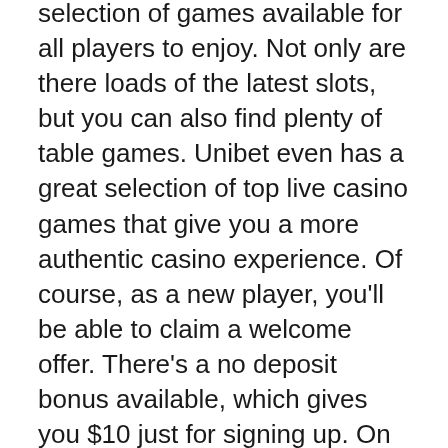selection of games available for all players to enjoy. Not only are there loads of the latest slots, but you can also find plenty of table games. Unibet even has a great selection of top live casino games that give you a more authentic casino experience. Of course, as a new player, you'll be able to claim a welcome offer. There's a no deposit bonus available, which gives you $10 just for signing up. On top of that, you can claim a 100% matched deposit bonus of up to $500 on your first deposit.
Draft Kings Casino – Draft Kings has partnered with IGT, one of the leading casino software developers. The site provides players with a place to find all the latest game releases. There are loads of video slots